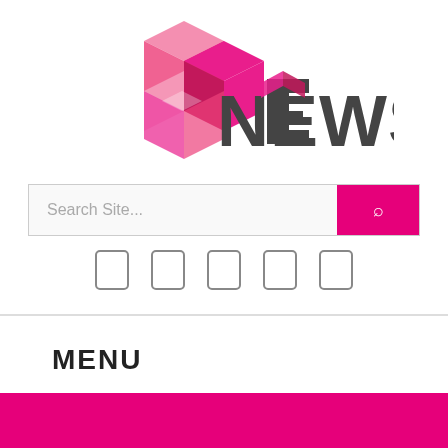[Figure (logo): bb9 News logo with pink 3D cube graphic and bold grey NEWS text]
[Figure (screenshot): Search bar with 'Search Site...' placeholder and pink search button with magnifier icon]
[Figure (screenshot): Five social media icon buttons in a row]
MENU